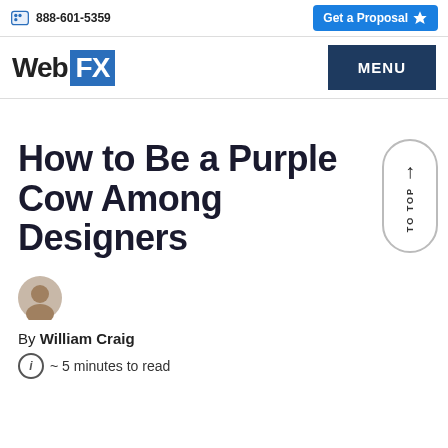888-601-5359  Get a Proposal
WebFX  MENU
How to Be a Purple Cow Among Designers
By William Craig
~ 5 minutes to read